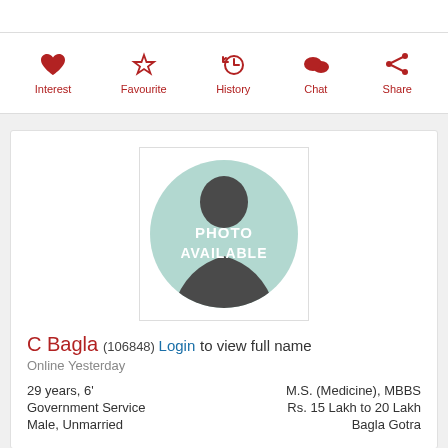[Figure (infographic): Navigation action bar with icons: Interest (heart), Favourite (star), History (clock/back arrow), Chat (speech bubble), Share (share icon), all in dark red color]
[Figure (photo): Profile photo placeholder showing a silhouette of a person on teal/mint background with text PHOTO AVAILABLE overlay]
C Bagla (106848) Login to view full name
Online Yesterday
29 years, 6' / M.S. (Medicine), MBBS / Government Service / Rs. 15 Lakh to 20 Lakh / Male, Unmarried / Bagla Gotra